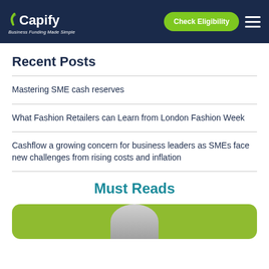[Figure (logo): Capify logo with green swoosh and white text, tagline 'Business Funding Made Simple']
Recent Posts
Mastering SME cash reserves
What Fashion Retailers can Learn from London Fashion Week
Cashflow a growing concern for business leaders as SMEs face new challenges from rising costs and inflation
Must Reads
[Figure (photo): Green card with circular image at bottom center, partially visible]